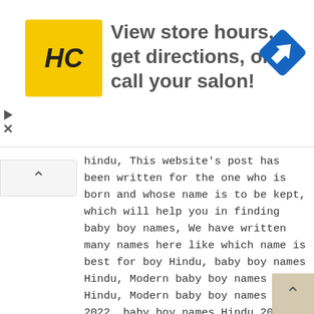[Figure (other): Advertisement banner with HC logo (yellow square with HC letters), text 'View store hours, get directions, or call your salon!', and a blue navigation/directions diamond icon on the right. Play and close buttons on left side.]
hindu, This website's post has been written for the one who is born and whose name is to be kept, which will help you in finding baby boy names, We have written many names here like which name is best for boy Hindu, baby boy names Hindu, Modern baby boy names Hindu, Modern baby boy names Hindu 2022, baby boy names Hindu 2022, Newborn baby boy Unique names Hindu, Hindu baby boy names starting with S, Hindu baby boy names starting with A, Unique Hindu baby boy names 2022, K letter names for boy Hindu, N letter names for boy Hindu latest 2022, baby